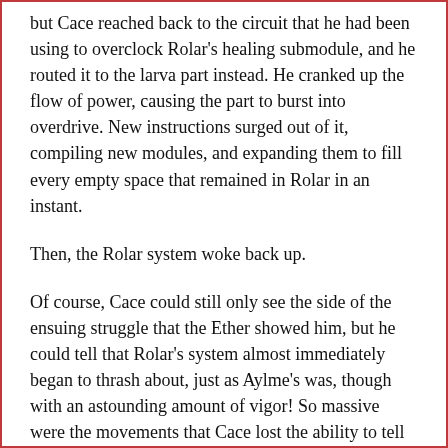but Cace reached back to the circuit that he had been using to overclock Rolar's healing submodule, and he routed it to the larva part instead. He cranked up the flow of power, causing the part to burst into overdrive. New instructions surged out of it, compiling new modules, and expanding them to fill every empty space that remained in Rolar in an instant.
Then, the Rolar system woke back up.
Of course, Cace could still only see the side of the ensuing struggle that the Ether showed him, but he could tell that Rolar's system almost immediately began to thrash about, just as Aylme's was, though with an astounding amount of vigor! So massive were the movements that Cace lost the ability to tell what was happening, all was a chaos of surging movements, firing signals, mounting pressure, the signs of two great tides surging against one another.
As Cace continued to watch the different sides of the